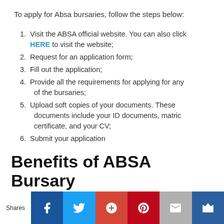To apply for Absa bursaries, follow the steps below:
Visit the ABSA official website. You can also click HERE to visit the website;
Request for an application form;
Fill out the application;
Provide all the requirements for applying for any of the bursaries;
Upload soft copies of your documents. These documents include your ID documents, matric certificate, and your CV;
Submit your application
Benefits of ABSA Bursary
[Figure (other): Social sharing bar with Facebook, Twitter, Google+, Pinterest, Email, and bookmark icons]